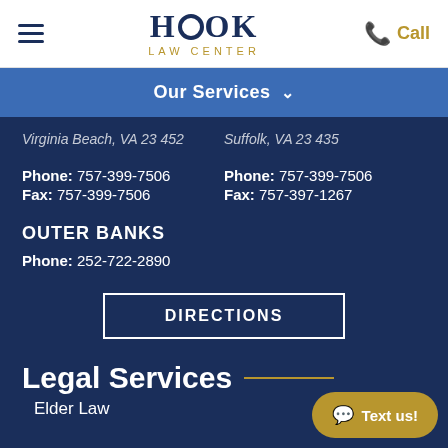HOOK LAW CENTER | Call
Our Services
Virginia Beach, VA 23452 | Suffolk, VA 23435
Phone: 757-399-7506 | Fax: 757-399-7506 | Phone: 757-399-7506 | Fax: 757-397-1267
OUTER BANKS
Phone: 252-722-2890
DIRECTIONS
Legal Services
Elder Law